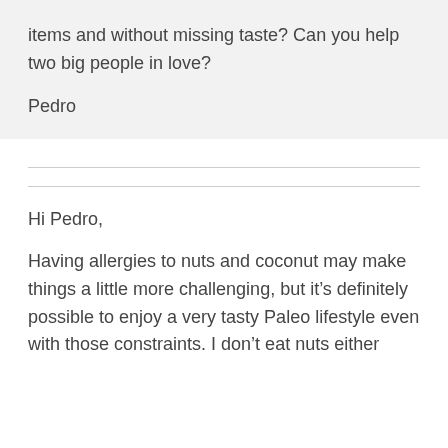items and without missing taste?  Can you help two big people in love?
Pedro
Hi Pedro,
Having allergies to nuts and coconut may make things a little more challenging, but it's definitely possible to enjoy a very tasty Paleo lifestyle even with those constraints. I don't eat nuts either